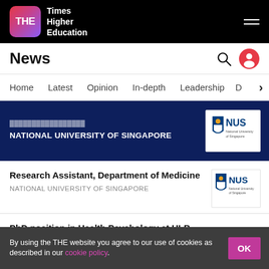Times Higher Education
News
Home  Latest  Opinion  In-depth  Leadership  D
[Figure (screenshot): National University of Singapore banner card with NUS logo on dark navy background]
Research Assistant, Department of Medicine — NATIONAL UNIVERSITY OF SINGAPORE
PhD position in Health Psychology at ULB — UNIVERSITE LIBRE DE BRUXELLES
By using the THE website you agree to our use of cookies as described in our cookie policy.